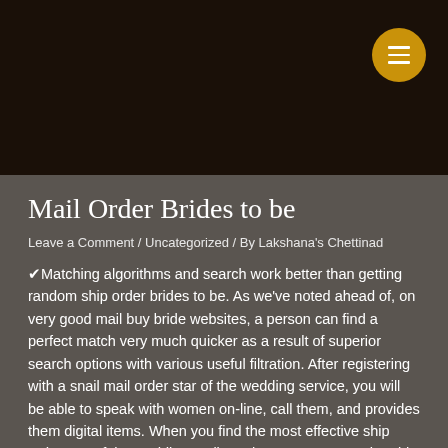Mail Order Brides to be
Leave a Comment / Uncategorized / By Lakshana's Chettinad
✔Matching algorithms and search work better than getting random ship order brides to be. As we've noted ahead of, on very good mail buy bride websites, a person can find a perfect match very much quicker as a result of superior search options with various useful filtration. After registering with a snail mail order star of the wedding service, you will be able to speak with women on-line, call them, and provides them digital items. When you find the most effective ship order star of the wedding on-line, also you can go to the girl in